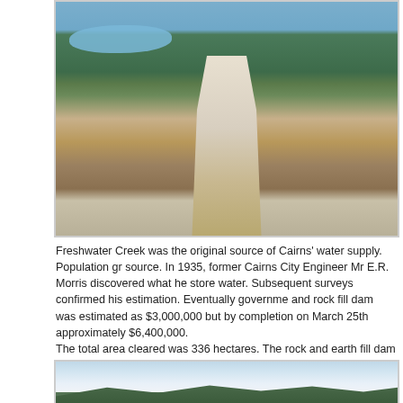[Figure (photo): Man standing in front of a reservoir and forested hills, wearing a cap and short-sleeve shirt, with a structure visible to the right.]
Freshwater Creek was the original source of Cairns' water supply. Population gr source. In 1935, former Cairns City Engineer Mr E.R. Morris discovered what he store water. Subsequent surveys confirmed his estimation. Eventually governme and rock fill dam was estimated as $3,000,000 but by completion on March 25th approximately $6,400,000.
The total area cleared was 336 hectares. The rock and earth fill dam impounds rainforest catchment area of 44km2.
[Figure (photo): Landscape photo showing a reservoir or lake with forested hills and a structure or tower visible in the distance under a cloudy sky.]